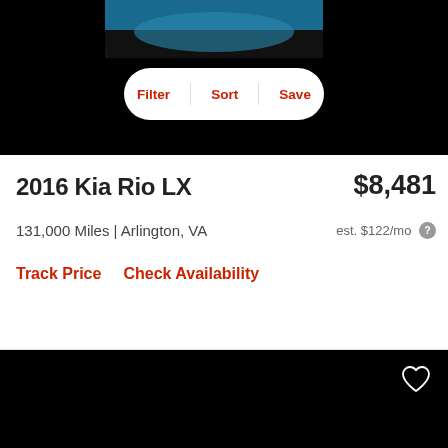[Figure (screenshot): Top portion of a car listing app showing a car image and Filter/Sort/Save buttons on a black background]
2016 Kia Rio LX
$8,481
131,000 Miles | Arlington, VA
est. $122/mo
Track Price    Check Availability
[Figure (photo): White Kia Rio sedan photographed from the rear three-quarter angle in a parking lot with trees in the background]